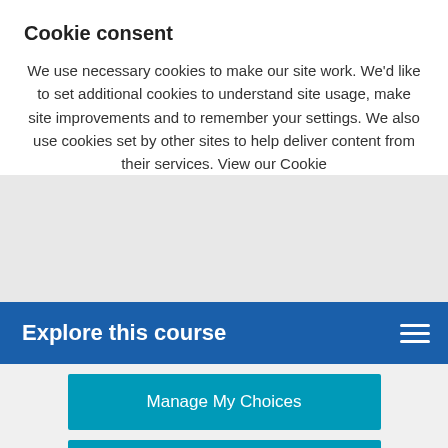[Figure (screenshot): Top teal navigation bar of a website]
9/5/2022 : This course page is currently
Cookie consent
We use necessary cookies to make our site work. We'd like to set additional cookies to understand site usage, make site improvements and to remember your settings. We also use cookies set by other sites to help deliver content from their services. View our Cookie
Explore this course
Manage My Choices
Reject Additional Cookies
Accept Additional Cookies